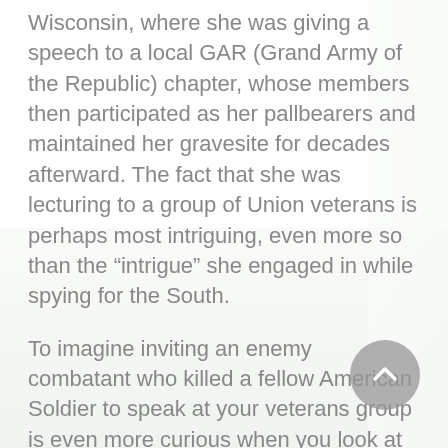Wisconsin, where she was giving a speech to a local GAR (Grand Army of the Republic) chapter, whose members then participated as her pallbearers and maintained her gravesite for decades afterward. The fact that she was lecturing to a group of Union veterans is perhaps most intriguing, even more so than the "intrigue" she engaged in while spying for the South.
To imagine inviting an enemy combatant who killed a fellow American Soldier to speak at your veterans group is even more curious when you look at the makeup of the GAR at that time. It was a huge post-war organization with hundreds of thousands of both white and black Union military veterans, and had considerable political influence. One of its efforts was to include black veterans in government